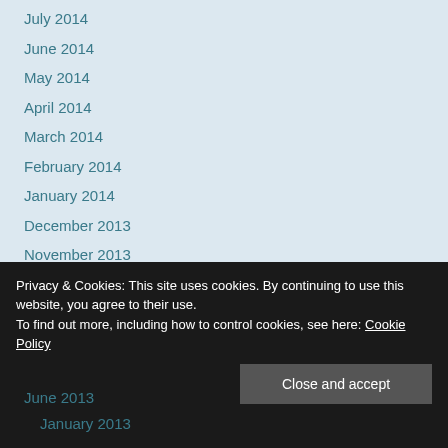July 2014
June 2014
May 2014
April 2014
March 2014
February 2014
January 2014
December 2013
November 2013
October 2013
September 2013
August 2013
July 2013
June 2013
January 2013
Privacy & Cookies: This site uses cookies. By continuing to use this website, you agree to their use. To find out more, including how to control cookies, see here: Cookie Policy
Close and accept